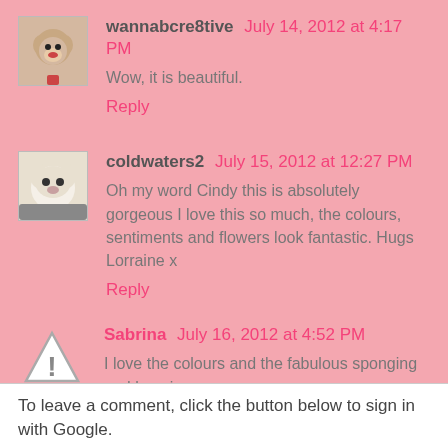wannabcre8tive  July 14, 2012 at 4:17 PM
Wow, it is beautiful.
Reply
coldwaters2  July 15, 2012 at 12:27 PM
Oh my word Cindy this is absolutely gorgeous I love this so much, the colours, sentiments and flowers look fantastic. Hugs Lorraine x
Reply
Sabrina  July 16, 2012 at 4:52 PM
I love the colours and the fabulous sponging and layering.
Reply
To leave a comment, click the button below to sign in with Google.